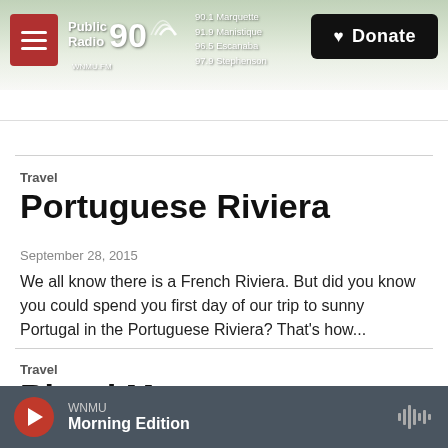[Figure (screenshot): Public Radio 90 website header with logo, frequency information, hamburger menu, and Donate button over a misty forest background image]
Travel
Portuguese Riviera
September 28, 2015
We all know there is a French Riviera. But did you know you could spend you first day of our trip to sunny Portugal in the Portuguese Riviera? That's how...
Travel
Blood Moon
WNMU Morning Edition